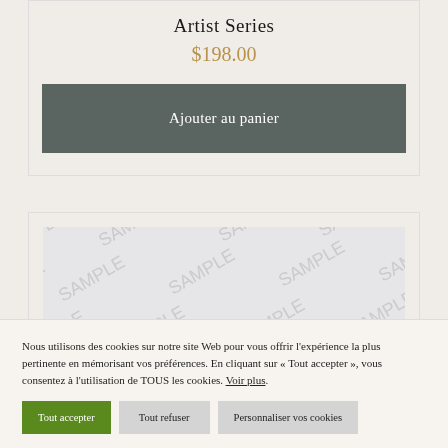Artist Series
$198.00
Ajouter au panier
[Figure (other): Sample watermark image placeholder with repeating SAMPLE text diagonal watermarks on light gray background]
Nous utilisons des cookies sur notre site Web pour vous offrir l'expérience la plus pertinente en mémorisant vos préférences. En cliquant sur « Tout accepter », vous consentez à l'utilisation de TOUS les cookies. Voir plus
Tout accepter
Tout refuser
Personnaliser vos cookies